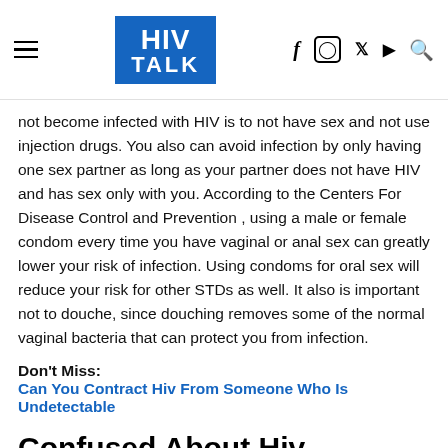HIV TALK
not become infected with HIV is to not have sex and not use injection drugs. You also can avoid infection by only having one sex partner as long as your partner does not have HIV and has sex only with you. According to the Centers For Disease Control and Prevention , using a male or female condom every time you have vaginal or anal sex can greatly lower your risk of infection. Using condoms for oral sex will reduce your risk for other STDs as well. It also is important not to douche, since douching removes some of the normal vaginal bacteria that can protect you from infection.
Don't Miss: Can You Contract Hiv From Someone Who Is Undetectable
Confused About Hiv Transmission Statistics